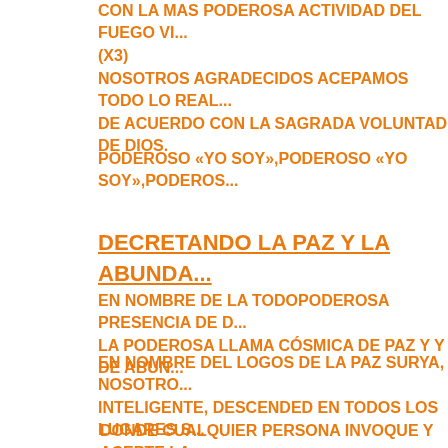CON LA MAS PODEROSA ACTIVIDAD DEL FUEGO VI... (X3)
NOSOTROS AGRADECIDOS ACEPAMOS TODO LO REAL... DE ACUERDO CON LA SAGRADA VOLUNTAD DE DIOS.
PODEROSO «YO SOY»,PODEROSO «YO SOY»,PODEROS...
DECRETANDO LA PAZ Y LA ABUNDA...
EN NOMBRE DE LA TODOPODEROSA PRESENCIA DE D... LA PODEROSA LLAMA CÓSMICA DE PAZ Y Y DE ABUN...
EN NOMBRE DEL LOGOS DE LA PAZ SURYA, NOSOTRO... INTELIGENTE, DESCENDED EN TODOS LOS LUGARES S...
DONDE CUALQUIER PERSONA INVOQUE Y ACEPTE LA...